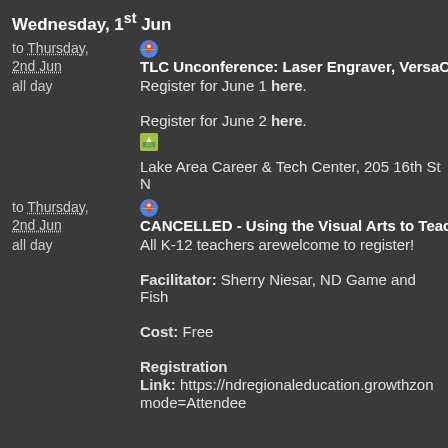Wednesday, 1st Jun
to Thursday,
2nd Jun    TLC Unconference: Laser Engraver, VersaCa...
all day    Register for June 1 here.
Register for June 2 here.
Lake Area Career & Tech Center, 205 16th St N...
to Thursday,
2nd Jun    CANCELLED - Using the Visual Arts to Teach...
all day    All K-12 teachers arewelcome to register!
Facilitator: Sherry Niesar, ND Game and Fish...
Cost: Free
Registration Link: https://ndregionaleducation.growthzon... mode=Attendee...